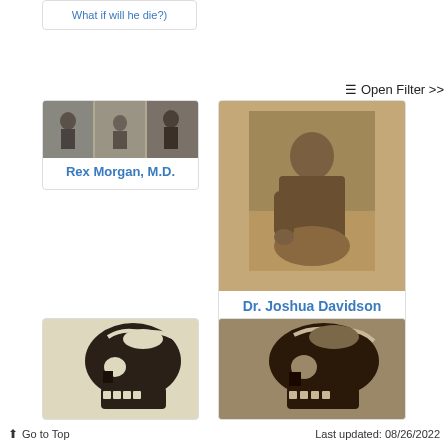[Figure (other): Partial card top with link text 'What if will he die?)']
≡ Open Filter >>
[Figure (illustration): Rex Morgan M.D. card with comic strip thumbnail image]
[Figure (photo): Dr. Joshua Davidson card with sepia photograph of a seated figure]
[Figure (photo): Skull viewed from side - left card, light beige background]
[Figure (photo): Skull viewed from side - right card, sepia/brown background]
⬆ Go to Top    Last updated: 08/26/2022